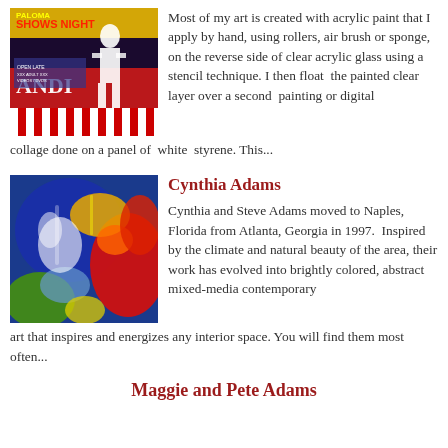[Figure (photo): Colorful pop art / neon-sign style artwork with a female silhouette figure and bright text]
Most of my art is created with acrylic paint that I apply by hand, using rollers, air brush or sponge, on the reverse side of clear acrylic glass using a stencil technique. I then float the painted clear layer over a second painting or digital collage done on a panel of white styrene. This...
[Figure (photo): Abstract expressionist painting with bold blue, red, yellow, and white brushstrokes on canvas]
Cynthia Adams
Cynthia and Steve Adams moved to Naples, Florida from Atlanta, Georgia in 1997. Inspired by the climate and natural beauty of the area, their work has evolved into brightly colored, abstract mixed-media contemporary art that inspires and energizes any interior space. You will find them most often...
Maggie and Pete Adams